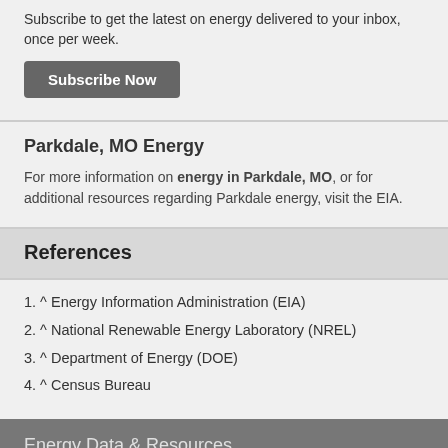Subscribe to get the latest on energy delivered to your inbox, once per week.
Subscribe Now
Parkdale, MO Energy
For more information on energy in Parkdale, MO, or for additional resources regarding Parkdale energy, visit the EIA.
References
1. ^ Energy Information Administration (EIA)
2. ^ National Renewable Energy Laboratory (NREL)
3. ^ Department of Energy (DOE)
4. ^ Census Bureau
Energy Data & Resources
Energy knowledge for the smart consumer. Learn about electricity, natural gas, solar energy, and more in your